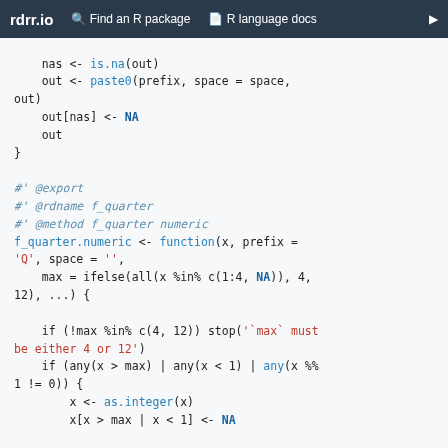rdrr.io   Find an R package   R language docs
nas <- is.na(out)
    out <- paste0(prefix, space = space,
out)
    out[nas] <- NA
    out
}

#' @export
#' @rdname f_quarter
#' @method f_quarter numeric
f_quarter.numeric <- function(x, prefix =
'Q', space = '',
    max = ifelse(all(x %in% c(1:4, NA)), 4,
12), ...) {

    if (!max %in% c(4, 12)) stop('`max` must
be either 4 or 12')
    if (any(x > max) | any(x < 1) | any(x %%
1 != 0)) {
        x <- as.integer(x)
        x[x > max | x < 1] <- NA